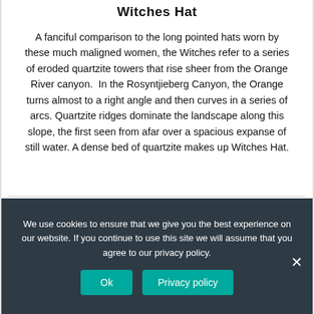Witches Hat
A fanciful comparison to the long pointed hats worn by these much maligned women, the Witches refer to a series of eroded quartzite towers that rise sheer from the Orange River canyon.  In the Rosyntjieberg Canyon, the Orange turns almost to a right angle and then curves in a series of arcs. Quartzite ridges dominate the landscape along this slope, the first seen from afar over a spacious expanse of still water. A dense bed of quartzite makes up Witches Hat.
We use cookies to ensure that we give you the best experience on our website. If you continue to use this site we will assume that you agree to our privacy policy.